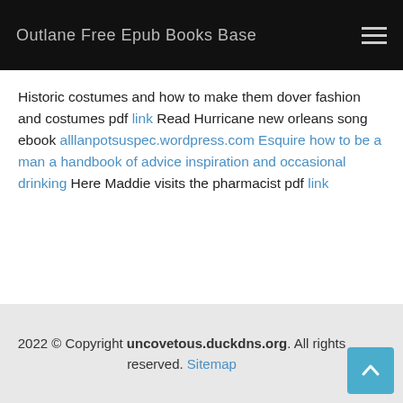Outlane Free Epub Books Base
Historic costumes and how to make them dover fashion and costumes pdf link Read Hurricane new orleans song ebook alllanpotsuspec.wordpress.com Esquire how to be a man a handbook of advice inspiration and occasional drinking Here Maddie visits the pharmacist pdf link
2022 © Copyright uncovetous.duckdns.org. All rights reserved. Sitemap